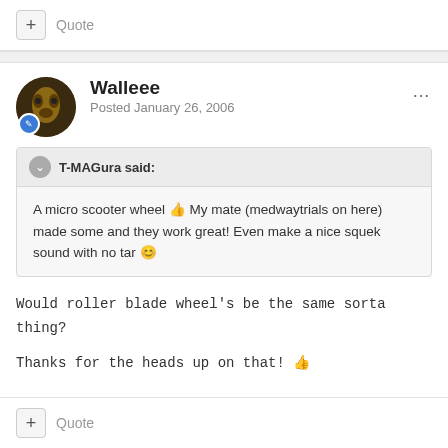+ Quote
Walleee
Posted January 26, 2006
T-MAGura said:
A micro scooter wheel 👍 My mate (medwaytrials on here) made some and they work great! Even make a nice squek sound with no tar 😊
Would roller blade wheel's be the same sorta thing?

Thanks for the heads up on that! 👍
+ Quote